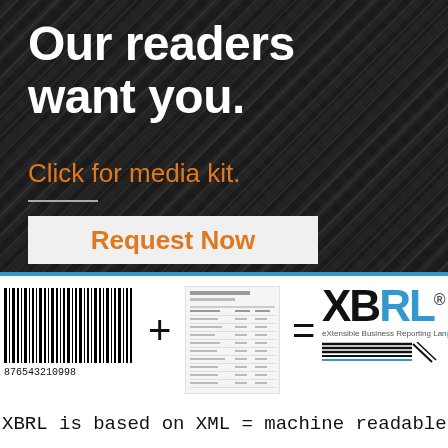[Figure (illustration): Dark background advertisement with triangle pattern. Large white bold headline 'Our readers want you.' with orange subline 'Click for media kit.' and a horizontal divider line. A light gray button with orange bold text 'Request Now'.]
[Figure (illustration): Bottom section showing a barcode on the left with number 876543210998, a plus sign, a document/spreadsheet image in the center, an equals sign, and the XBRL logo on the right with text 'eXtensible Business Reporting Lang' and horizontal lines beneath. Below all of these is the text 'XBRL is based on XML = machine readable HTML']
XBRL is based on XML = machine readable HTML